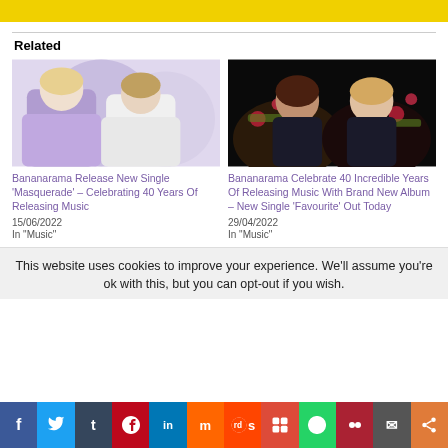[Figure (other): Yellow banner/advertisement bar at top of page]
Related
[Figure (photo): Two women (Bananarama members) in purple and white outfits against light background]
Bananarama Release New Single ‘Masquerade’ – Celebrating 40 Years Of Releasing Music
15/06/2022
In "Music"
[Figure (photo): Two women (Bananarama members) with dark floral background, wearing black outfits]
Bananarama Celebrate 40 Incredible Years Of Releasing Music With Brand New Album – New Single ‘Favourite’ Out Today
29/04/2022
In "Music"
This website uses cookies to improve your experience. We’ll assume you’re ok with this, but you can opt-out if you wish.
[Figure (infographic): Social media sharing bar at bottom with icons: Facebook, Twitter, Tumblr, Pinterest, LinkedIn, Mix, Reddit, Google+, WhatsApp, Myspace, Email, Share]